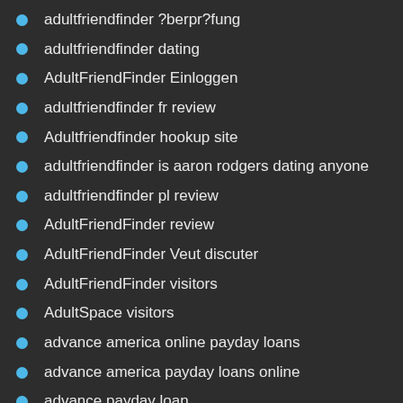adultfriendfinder ?berpr?fung
adultfriendfinder dating
AdultFriendFinder Einloggen
adultfriendfinder fr review
Adultfriendfinder hookup site
adultfriendfinder is aaron rodgers dating anyone
adultfriendfinder pl review
AdultFriendFinder review
AdultFriendFinder Veut discuter
AdultFriendFinder visitors
AdultSpace visitors
advance america online payday loans
advance america payday loans online
advance payday loan
advanced payday loan